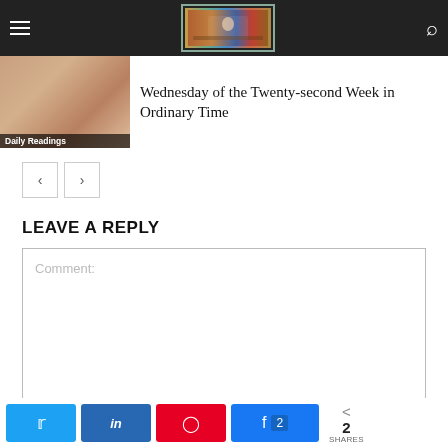Daily Readings website header with logo and navigation
[Figure (photo): Thumbnail image labeled 'Daily Readings' with brownish religious imagery]
Wednesday of the Twenty-second Week in Ordinary Time
[Figure (other): Previous and next navigation arrow buttons]
LEAVE A REPLY
Comment:
Social share buttons: Twitter, LinkedIn, Pinterest, Facebook (2), total 2 SHARES